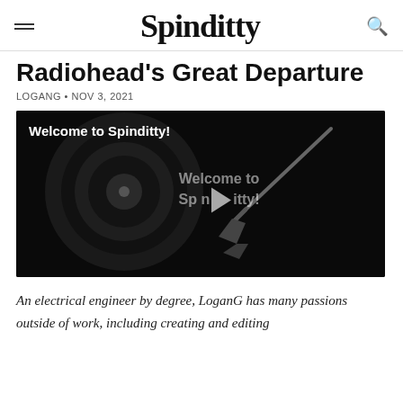Spinditty
Radiohead's Great Departure
LOGANG • NOV 3, 2021
[Figure (screenshot): Video thumbnail showing a turntable/record player in dark tones with text 'Welcome to Spinditty!' and a play button overlay]
An electrical engineer by degree, LoganG has many passions outside of work, including creating and editing